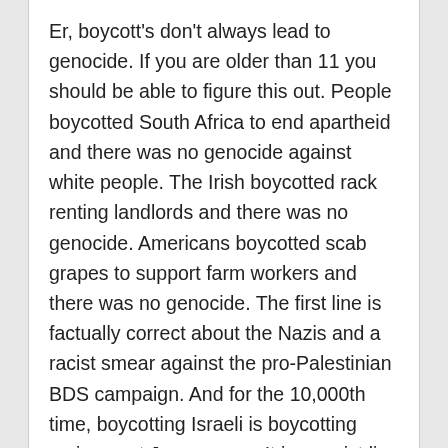Er, boycott's don't always lead to genocide. If you are older than 11 you should be able to figure this out. People boycotted South Africa to end apartheid and there was no genocide against white people. The Irish boycotted rack renting landlords and there was no genocide. Americans boycotted scab grapes to support farm workers and there was no genocide. The first line is factually correct about the Nazis and a racist smear against the pro-Palestinian BDS campaign. And for the 10,000th time, boycotting Israeli is boycotting racism, not Jews per se. It is a racist lie to equate Israel with Jews per se.
A mistake?
norwegian replied on Fri, 04/27/2012 - 20:01
I just cannot believe that the respected New York Times has really printed this despicable ad. Nothing in the scanned copy